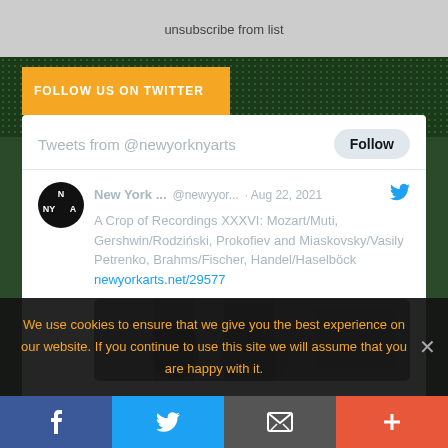unsubscribe from list
FOLLOW US ON TWITTER
[Figure (screenshot): Twitter widget showing tweets from @newyorknyarts with a Follow button, and a tweet from New York... @newyyor... dated Aug 22, 2021 reading: A Crop of Recordings XXXVI: Mozart/Muti, Gershwin/Rodziński, Prokofiev and Miaskovsky/Vasily Petrenko, Brahms/Fischer, Handel/Haselböck newyorkarts.net/29577]
We use cookies to ensure that we give you the best experience on our website. If you continue to use this site we will assume that you are happy with it.